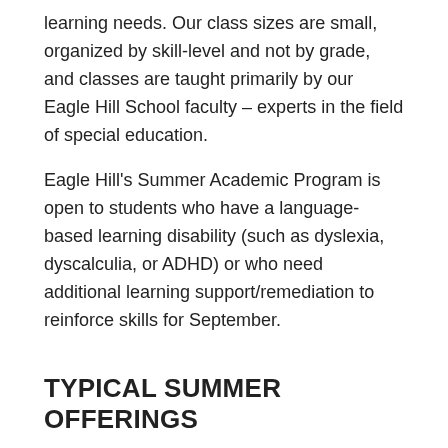learning needs. Our class sizes are small, organized by skill-level and not by grade, and classes are taught primarily by our Eagle Hill School faculty – experts in the field of special education.
Eagle Hill's Summer Academic Program is open to students who have a language-based learning disability (such as dyslexia, dyscalculia, or ADHD) or who need additional learning support/remediation to reinforce skills for September.
TYPICAL SUMMER OFFERINGS
Foundations Program (for rising kindergarteners – rising second graders)
The Summer Foundations Program is designed to help